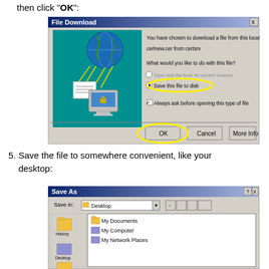then click "OK":
[Figure (screenshot): Windows File Download dialog box showing options to open or save a file. 'Save this file to disk' radio button is selected and circled in yellow. The OK button at the bottom is also circled in yellow. The dialog shows text: 'You have chosen to download a file from this location', 'cerlnew.cer from certsrv', 'What would you like to do with this file?', options 'Open this file from its current location' and 'Save this file to disk', checkbox 'Always ask before opening this type of file', buttons OK, Cancel, More Info.]
5. Save the file to somewhere convenient, like your desktop:
[Figure (screenshot): Windows Save As dialog box showing Desktop as the save location. Left panel shows History and Desktop icons. Main area shows My Documents, My Computer, My Network Places. Top bar shows 'Save in: Desktop' with navigation buttons.]